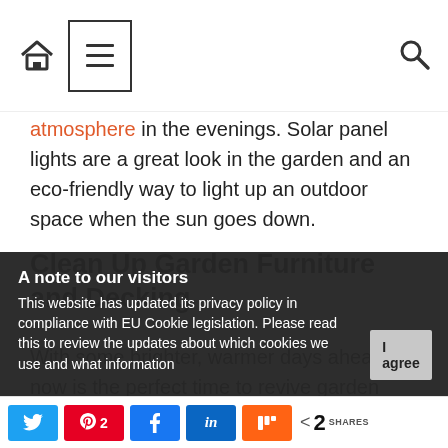[Navigation bar with home icon, hamburger menu, and search icon]
atmosphere in the evenings. Solar panel lights are a great look in the garden and an eco-friendly way to light up an outdoor space when the sun goes down.
Clean Up Garden Furniture and Decking
With some brighter, warmer days ahead, now is the perfect time to revive garden furniture and decking that has suffered over the winter months. Soapy water and a brush should be enough to bring grimy wooden furniture back to life; perfect for
A note to our visitors
This website has updated its privacy policy in compliance with EU Cookie legislation. Please read this to review the updates about which cookies we use and what information
Social share bar: Twitter, Pinterest (2), Facebook, LinkedIn, Mix | < 2 SHARES